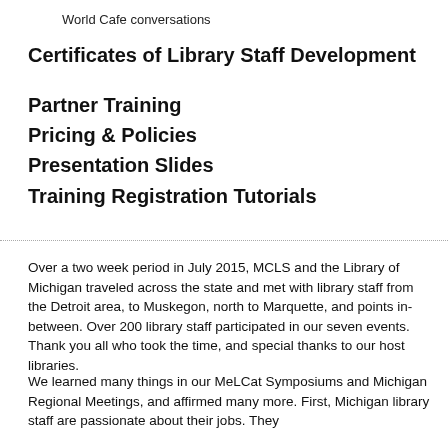World Cafe conversations
Certificates of Library Staff Development
Partner Training
Pricing & Policies
Presentation Slides
Training Registration Tutorials
Over a two week period in July 2015, MCLS and the Library of Michigan traveled across the state and met with library staff from the Detroit area, to Muskegon, north to Marquette, and points in-between. Over 200 library staff participated in our seven events. Thank you all who took the time, and special thanks to our host libraries.
We learned many things in our MeLCat Symposiums and Michigan Regional Meetings, and affirmed many more. First, Michigan library staff are passionate about their jobs. They